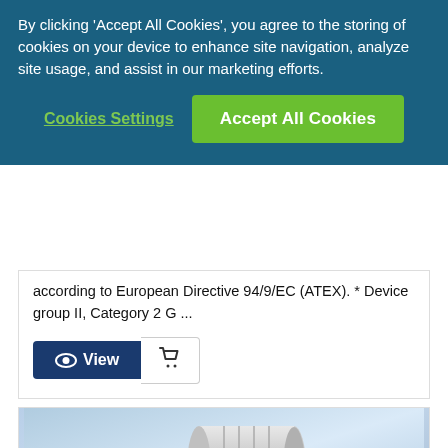By clicking 'Accept All Cookies', you agree to the storing of cookies on your device to enhance site navigation, analyze site usage, and assist in our marketing efforts.
Cookies Settings
Accept All Cookies
according to European Directive 94/9/EC (ATEX). * Device group II, Category 2 G ...
View
[Figure (photo): Product photo of an industrial motor/encoder device mounted on a bracket, with a cylindrical silver metallic body, cable connections, and mounting hardware. Blue gradient background.]